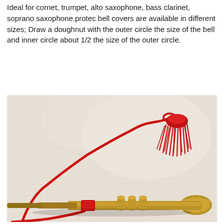Ideal for cornet, trumpet, alto saxophone, bass clarinet, soprano saxophone.protec bell covers are available in different sizes; Draw a doughnut with the outer circle the size of the bell and inner circle about 1/2 the size of the outer circle.
[Figure (photo): A photograph of a small brass trumpet or cornet with a red tassel/fringe tied to it with a red cord/rope, lying on a textured off-white fabric background.]